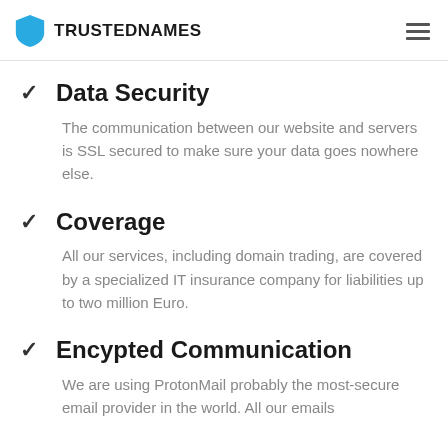TRUSTEDNAMES
Data Security
The communication between our website and servers is SSL secured to make sure your data goes nowhere else.
Coverage
All our services, including domain trading, are covered by a specialized IT insurance company for liabilities up to two million Euro.
Encypted Communication
We are using ProtonMail probably the most-secure email provider in the world. All our emails